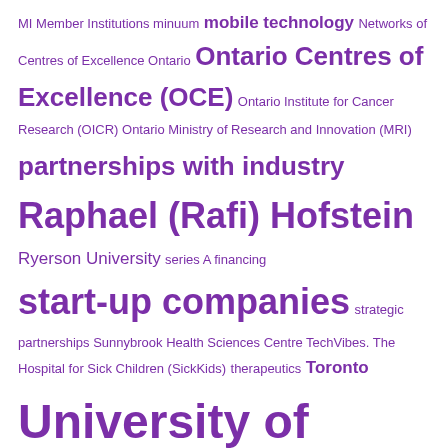MI Member Institutions minuum mobile technology Networks of Centres of Excellence Ontario Ontario Centres of Excellence (OCE) Ontario Institute for Cancer Research (OICR) Ontario Ministry of Research and Innovation (MRI) partnerships with industry Raphael (Rafi) Hofstein Ryerson University series A financing start-up companies strategic partnerships Sunnybrook Health Sciences Centre TechVibes. The Hospital for Sick Children (SickKids) therapeutics Toronto University of Toronto University of Toronto